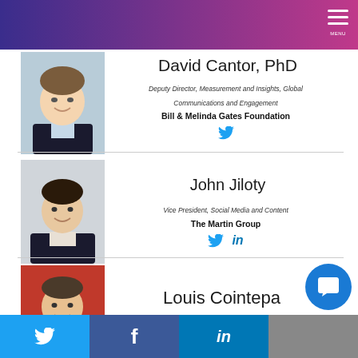[Figure (photo): Headshot of David Cantor, PhD - smiling man in suit]
David Cantor, PhD
Deputy Director, Measurement and Insights, Global Communications and Engagement
Bill & Melinda Gates Foundation
[Figure (photo): Headshot of John Jiloty - smiling man in suit]
John Jiloty
Vice President, Social Media and Content
The Martin Group
[Figure (photo): Headshot of Louis Cointepa - man in suit against red background]
Louis Cointepa